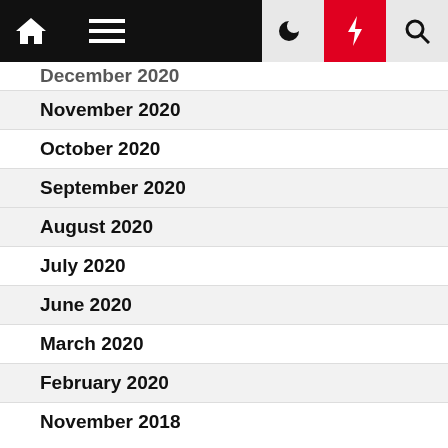Navigation bar with home, menu, dark mode, lightning/breaking, and search icons
December 2020
November 2020
October 2020
September 2020
August 2020
July 2020
June 2020
March 2020
February 2020
November 2018